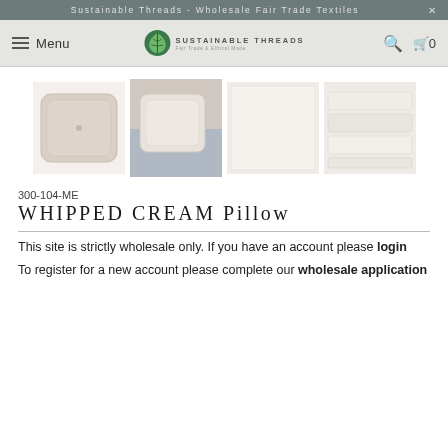Sustainable Threads - Wholesale Fair Trade Textiles
Menu | SUSTAINABLE THREADS Fair Trade & Ethical Made | Search | Cart 0
[Figure (photo): Four product images of a cream/white pillow: standalone pillow, pillow in lifestyle setting, flat fabric swatch, stacked folded fabric]
300-104-ME
WHIPPED CREAM Pillow
This site is strictly wholesale only. If you have an account please login
To register for a new account please complete our wholesale application